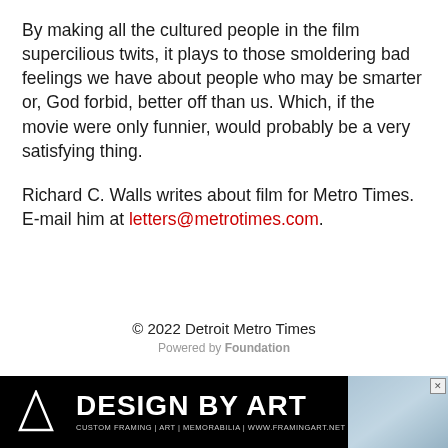By making all the cultured people in the film supercilious twits, it plays to those smoldering bad feelings we have about people who may be smarter or, God forbid, better off than us. Which, if the movie were only funnier, would probably be a very satisfying thing.
Richard C. Walls writes about film for Metro Times. E-mail him at letters@metrotimes.com.
© 2022 Detroit Metro Times
Powered by Foundation
[Figure (other): Advertisement banner for Design By Art custom framing. Black background with white triangle logo, text DESIGN BY ART in large bold letters, subtext CUSTOM FRAMING | ART | MEMORABILIA | WWW.FRAMINGART.NET, with a blue-toned textured image on the right.]